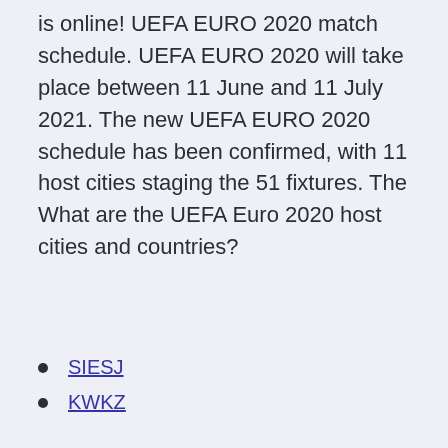is online! UEFA EURO 2020 match schedule. UEFA EURO 2020 will take place between 11 June and 11 July 2021. The new UEFA EURO 2020 schedule has been confirmed, with 11 host cities staging the 51 fixtures. The What are the UEFA Euro 2020 host cities and countries?
SIESJ
KWKZ